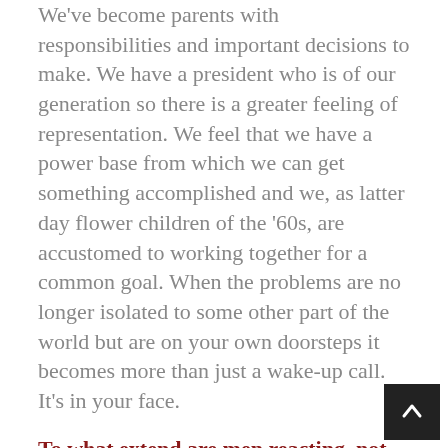We've become parents with responsibilities and important decisions to make. We have a president who is of our generation so there is a greater feeling of representation. We feel that we have a power base from which we can get something accomplished and we, as latter day flower children of the '60s, are accustomed to working together for a common goal. When the problems are no longer isolated to some other part of the world but are on your own doorsteps it becomes more than just a wake-up call. It's in your face.
To what extend are men reacting, not necessarily to the women's movement, but to competition from women in the workplace?
There is also a new work ethic. We can no longer count on the corporate structure as a benevolent parent. Employers are not going to take care of us in the ways that we were used to. Generous retirement